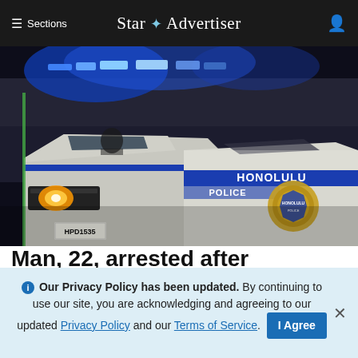≡ Sections   Star ✦ Advertiser
[Figure (photo): Honolulu Police Department patrol cars at night with blue lights flashing. License plate reads HPD1535. The side of one car shows 'HONOLULU POLICE' branding with the HPD badge emblem.]
Man, 22, arrested after allegedly choking woman, head-butting police...
Honolulu police arrested a 22-year-old man in a domestic violence case after he allegedly choked a 24-...
ⓘ Our Privacy Policy has been updated. By continuing to use our site, you are acknowledging and agreeing to our updated Privacy Policy and our Terms of Service. I Agree